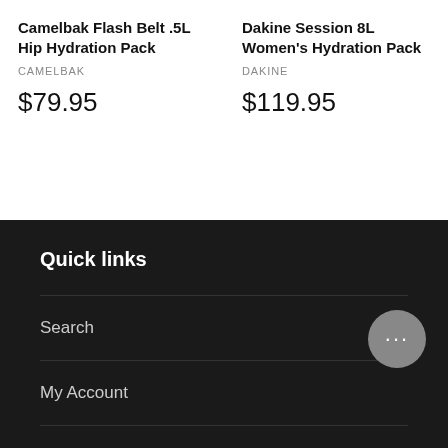Camelbak Flash Belt .5L Hip Hydration Pack
CAMELBAK
$79.95
Dakine Session 8L Women's Hydration Pack
DAKINE
$119.95
Quick links
Search
My Account
B2B Wholesale Distribution
Contact Us